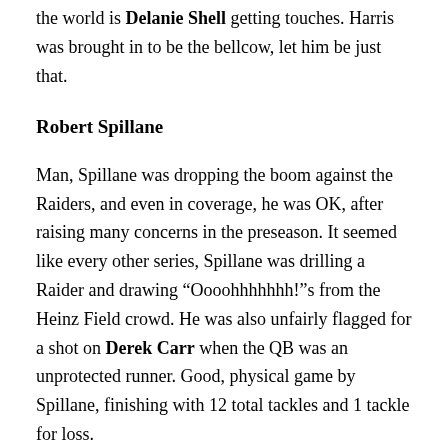the world is Delanie Shell getting touches. Harris was brought in to be the bellcow, let him be just that.
Robert Spillane
Man, Spillane was dropping the boom against the Raiders, and even in coverage, he was OK, after raising many concerns in the preseason. It seemed like every other series, Spillane was drilling a Raider and drawing “Oooohhhhhhh!”s from the Heinz Field crowd. He was also unfairly flagged for a shot on Derek Carr when the QB was an unprotected runner. Good, physical game by Spillane, finishing with 12 total tackles and 1 tackle for loss.
Pressley Harvin
Harvin had a nice day, punting 4 times for 197 yards and a 49.3 yard average. Three of his punts were inside the 20, and